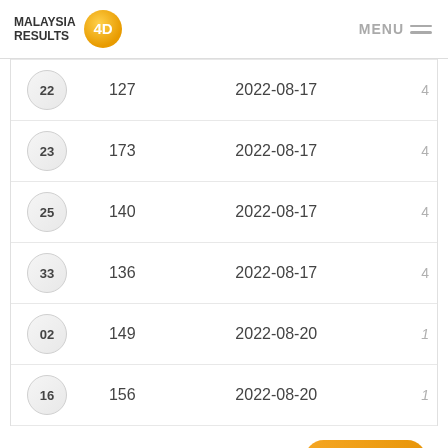MALAYSIA RESULTS 4D | MENU
| # | Number | Date | Rank |
| --- | --- | --- | --- |
| 22 | 127 | 2022-08-17 | 4 |
| 23 | 173 | 2022-08-17 | 4 |
| 25 | 140 | 2022-08-17 | 4 |
| 33 | 136 | 2022-08-17 | 4 |
| 02 | 149 | 2022-08-20 | 1 |
| 16 | 156 | 2022-08-20 | 1 |
Play Now
M  >